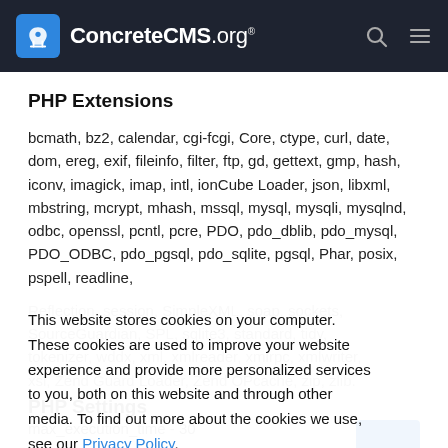ConcreteCMS.org
PHP Extensions
bcmath, bz2, calendar, cgi-fcgi, Core, ctype, curl, date, dom, ereg, exif, fileinfo, filter, ftp, gd, gettext, gmp, hash, iconv, imagick, imap, intl, ionCube Loader, json, libxml, mbstring, mcrypt, mhash, mssql, mysql, mysqli, mysqlnd, odbc, openssl, pcntl, pcre, PDO, pdo_dblib, pdo_mysql, PDO_ODBC, pdo_pgsql, pdo_sqlite, pgsql, Phar, posix, pspell, readline, Reflection, session, SimpleXML, soap, sockets, SourceGuardian, SPL, sqlite3, standard, tidy, tokenizer, wddx, xml, xmlreader, xmlrpc, xmlwriter, xsl, Zend Guard Loader, Zend OPcache, zip, zlib.
This website stores cookies on your computer. These cookies are used to improve your website experience and provide more personalized services to you, both on this website and through other media. To find out more about the cookies we use, see our Privacy Policy.
PHP Settings
max_execution_time - 30